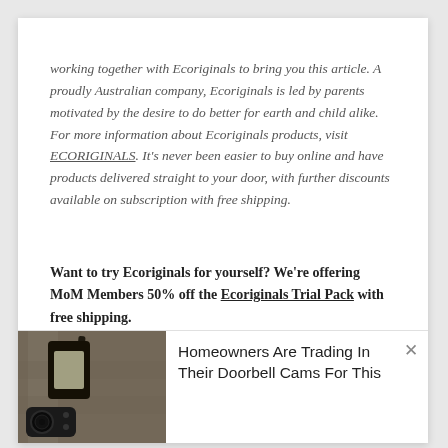working together with Ecoriginals to bring you this article. A proudly Australian company, Ecoriginals is led by parents motivated by the desire to do better for earth and child alike. For more information about Ecoriginals products, visit ECORIGINALS. It's never been easier to buy online and have products delivered straight to your door, with further discounts available on subscription with free shipping.
Want to try Ecoriginals for yourself? We're offering MoM Members 50% off the Ecoriginals Trial Pack with free shipping.
We may get commissions for purchases made using links in this post
[Figure (photo): Photo of an outdoor wall lamp with a security camera, advertisement image]
Homeowners Are Trading In Their Doorbell Cams For This